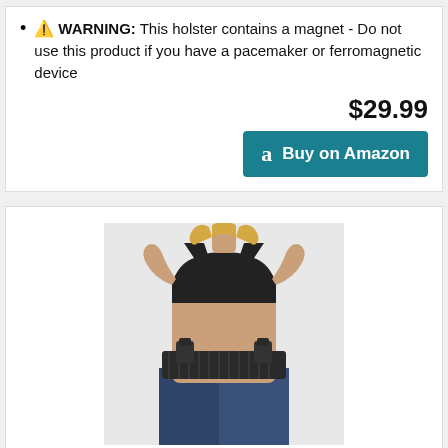⚠ WARNING: This holster contains a magnet - Do not use this product if you have a pacemaker or ferromagnetic device
$29.99
Buy on Amazon
[Figure (photo): Woman wearing a belly band holster around her waist showing two gun holster pockets on the elastic band]
Accmor Belly Band Holster for Concealed Carry, Elastic Breathable Waistband Gun